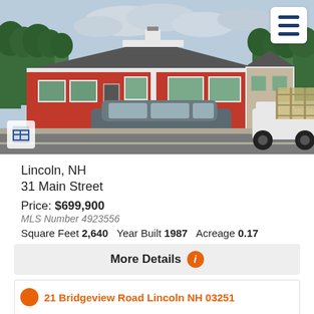[Figure (photo): Exterior photo of a red commercial building at 31 Main Street, Lincoln NH, with a gray SUV parked in front and trees in background. A hamburger menu icon appears top-right and a floor-plan icon bottom-left.]
Lincoln, NH
31 Main Street
Price: $699,900
MLS Number 4923556
Square Feet 2,640    Year Built 1987    Acreage 0.17
Listed by R.Stephen Loynd of Alpine Lakes Real Estate/Lincoln
More Details
21 Bridgeview Road Lincoln NH 03251